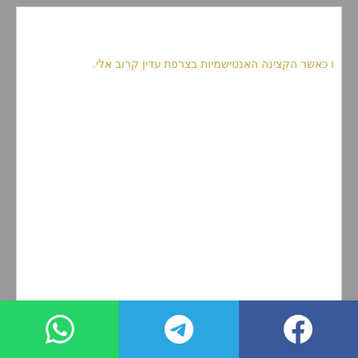[Figure (other): Large white rectangular content area with gray background border]
[Figure (other): White input/search bar]
ו כאשר הקצינה האנטישמיות בצרפת עדין קרוב אלי.
[Figure (other): Share bar with WhatsApp (green), Telegram (blue), and Facebook (dark blue) buttons]